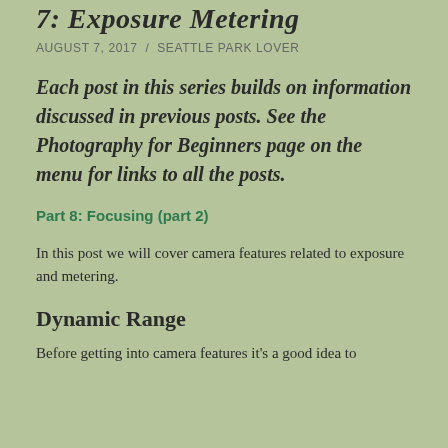7: Exposure Metering
AUGUST 7, 2017 / SEATTLE PARK LOVER
Each post in this series builds on information discussed in previous posts. See the Photography for Beginners page on the menu for links to all the posts.
Part 8: Focusing (part 2)
In this post we will cover camera features related to exposure and metering.
Dynamic Range
Before getting into camera features it's a good idea to